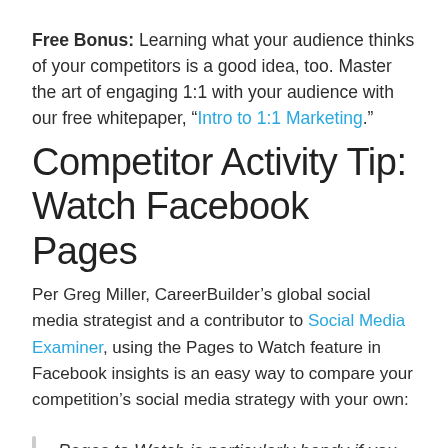Free Bonus: Learning what your audience thinks of your competitors is a good idea, too. Master the art of engaging 1:1 with your audience with our free whitepaper, “Intro to 1:1 Marketing.”
Competitor Activity Tip: Watch Facebook Pages
Per Greg Miller, CareerBuilder’s global social media strategist and a contributor to Social Media Examiner, using the Pages to Watch feature in Facebook insights is an easy way to compare your competition’s social media strategy with your own:
Pages to Watch is particularly handy if you want to see what’s working for